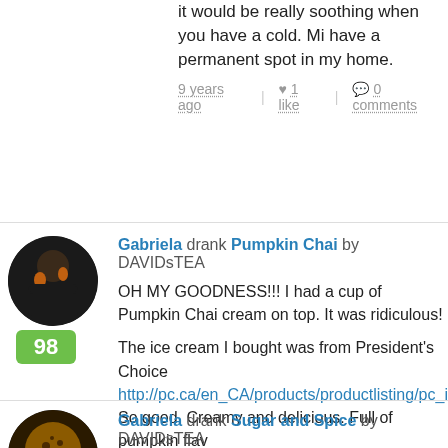it would be really soothing when you have a cold. Mi have a permanent spot in my home.
9 years ago | 1 like | 0 comments
Gabriela drank Pumpkin Chai by DAVIDsTEA
OH MY GOODNESS!!! I had a cup of Pumpkin Chai cream on top. It was ridiculous!

The ice cream I bought was from President's Choice http://pc.ca/en_CA/products/productlisting/pc_ice_cr So good. Creamy and delicious. Full of pumpkin fla
9 years ago | 4 likes | 0 comments
Gabriela drank Sugar and Spice by DAVIDsTEA